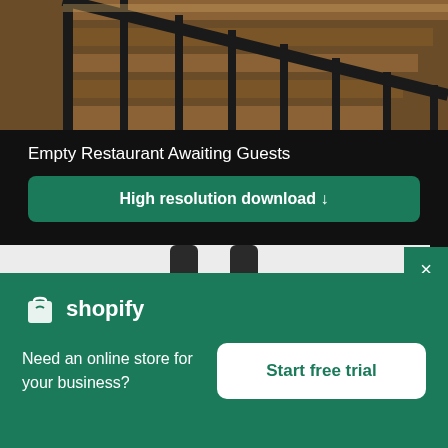[Figure (photo): Top portion of a restaurant interior showing wooden stair railing and steps from above]
Empty Restaurant Awaiting Guests
High resolution download ↓
[Figure (photo): Lower portion showing table or chair legs on a light marble or tile floor]
[Figure (logo): Shopify logo with bag icon and wordmark]
Need an online store for your business?
Start free trial